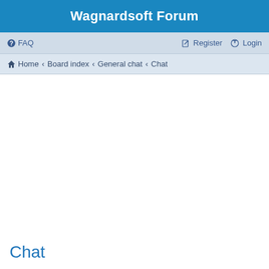Wagnardsoft Forum
❓ FAQ    ✏ Register  ⏻ Login
🏠 Home ‹ Board index ‹ General chat ‹ Chat
Chat